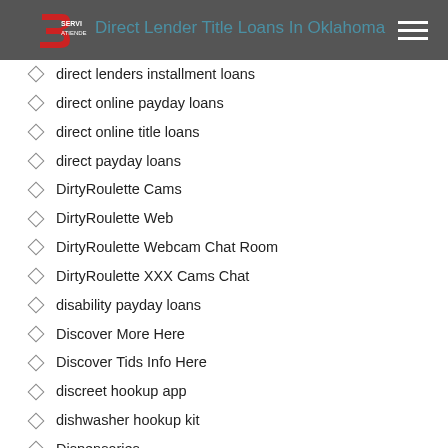Direct Lender Title Loans In Oklahoma
direct lenders installment loans
direct online payday loans
direct online title loans
direct payday loans
DirtyRoulette Cams
DirtyRoulette Web
DirtyRoulette Webcam Chat Room
DirtyRoulette XXX Cams Chat
disability payday loans
Discover More Here
Discover Tids Info Here
discreet hookup app
dishwasher hookup kit
Dispensaries
Dll Download
Dll Downloads